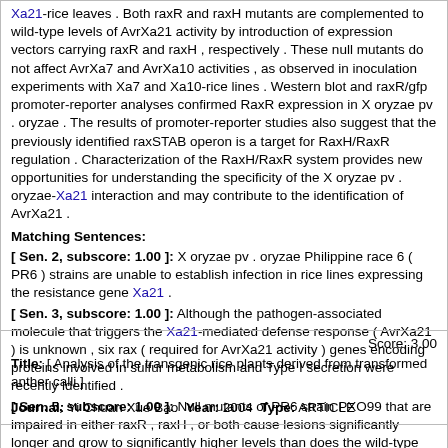Xa21-rice leaves . Both raxR and raxH mutants are complemented to wild-type levels of AvrXa21 activity by introduction of expression vectors carrying raxR and raxH , respectively . These null mutants do not affect AvrXa7 and AvrXa10 activities , as observed in inoculation experiments with Xa7 and Xa10-rice lines . Western blot and raxR/gfp promoter-reporter analyses confirmed RaxR expression in X oryzae pv . oryzae . The results of promoter-reporter studies also suggest that the previously identified raxSTAB operon is a target for RaxH/RaxR regulation . Characterization of the RaxH/RaxR system provides new opportunities for understanding the specificity of the X oryzae pv . oryzae-Xa21 interaction and may contribute to the identification of AvrXa21 .
Matching Sentences:
[ Sen. 2, subscore: 1.00 ]: X oryzae pv . oryzae Philippine race 6 ( PR6 ) strains are unable to establish infection in rice lines expressing the resistance gene Xa21 .
[ Sen. 3, subscore: 1.00 ]: Although the pathogen-associated molecule that triggers the Xa21-mediated defense response ( AvrXa21 ) is unknown , six rax ( required for AvrXa21 activity ) genes encoding proteins involved in sulfur metabolism and Type I secretion were recently identified .
[ Sen. 5, subscore: 1.00 ]: Null mutants of PR6 strain PXO99 that are impaired in either raxR , raxH , or both cause lesions significantly longer and grow to significantly higher levels than does the wild-type strain in Xa21-rice leaves .
Score: 3.00
Title: [ Analysis of the transgenic rice plants derived from transformed anther calli ]
Journal: Yi Chuan Xue Bao Year: 2004 Type: ARTICLE